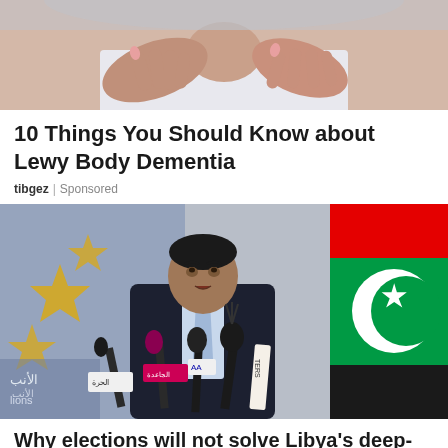[Figure (photo): Close-up of a person's hands resting on their shoulder/neck area, wearing a white top.]
10 Things You Should Know about Lewy Body Dementia
tibgez | Sponsored
[Figure (photo): A man in a dark suit and blue tie speaking at a press conference with multiple microphones, with the Libyan flag visible on the right and an organization logo on the left.]
Why elections will not solve Libya's deep-rooted